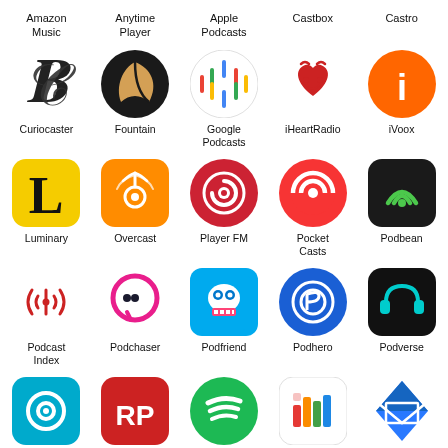[Figure (infographic): Grid of podcast platform app icons with labels: Amazon Music, Anytime Player, Apple Podcasts, Castbox, Castro, Curiocaster, Fountain, Google Podcasts, iHeartRadio, iVoox, Luminary, Overcast, Player FM, Pocket Casts, Podbean, Podcast Index, Podchaser, Podfriend, Podhero, Podverse, Podvine, Radio Public, Spotify, Stitcher, Subscribe by Email]